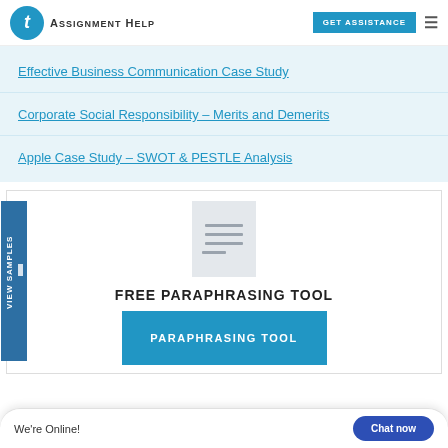TAssignmentHelp — GET ASSISTANCE
Effective Business Communication Case Study
Corporate Social Responsibility – Merits and Demerits
Apple Case Study – SWOT & PESTLE Analysis
[Figure (illustration): Document/paper icon with horizontal lines, representing a paraphrasing tool]
FREE PARAPHRASING TOOL
PARAPHRASING TOOL (button, partially visible)
We're Online!  Chat now